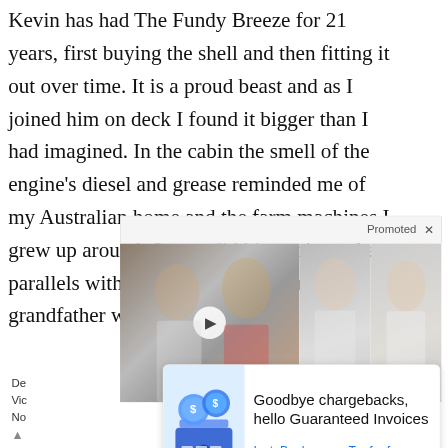Kevin has had The Fundy Breeze for 21 years, first buying the shell and then fitting it out over time. It is a proud beast and as I joined him on deck I found it bigger than I had imagined. In the cabin the smell of the engine's diesel and grease reminded me of my Australian home and the farm machines I grew up around. So too did his stories – the parallels with those of my father and grandfather were striking, all
[Figure (screenshot): Web page screenshot showing a promoted ad overlay with two photo thumbnails: left shows Melania and Donald Trump with a video play button, right shows two women in white. Below is an InstoBank advertisement saying 'Goodbye chargebacks, hello Guaranteed Invoices' with links to InstoBank and Try for free.]